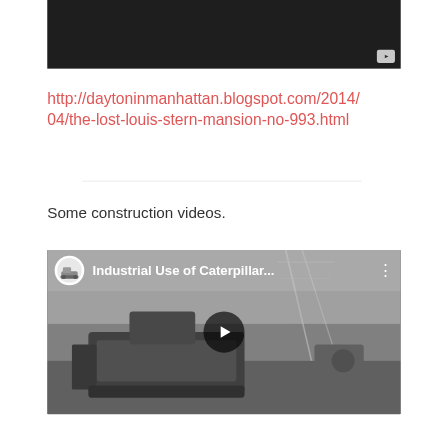[Figure (screenshot): Dark/black video player thumbnail at top of page, with a YouTube play button icon in the bottom right corner]
http://daytoninmanhattan.blogspot.com/2014/04/the-lost-louis-stern-mansion-no-993.html
[Figure (screenshot): YouTube video embed titled 'Industrial Use of Caterpillar...' showing a black and white construction scene with a tractor/bulldozer and a worker, with a play button overlay in the center]